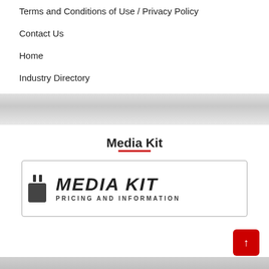Terms and Conditions of Use / Privacy Policy
Contact Us
Home
Industry Directory
Media Kit
[Figure (illustration): Media Kit banner with plug icon, bold text MEDIA KIT and subtitle PRICING AND INFORMATION inside a bordered rectangle]